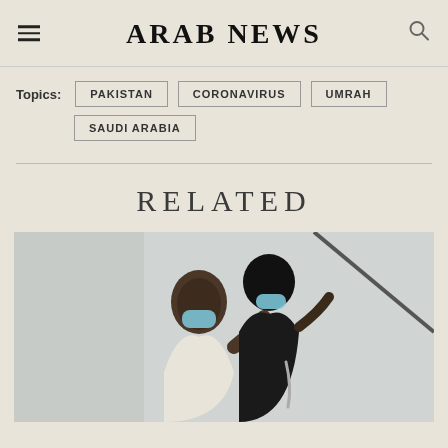ARAB NEWS
Topics: PAKISTAN  CORONAVIRUS  UMRAH  SAUDI ARABIA
RELATED
[Figure (photo): Two people wearing surgical masks at what appears to be a religious site — one in a white ihram garment, the other in black — gesturing and interacting, with a large pillar or monument in the background.]